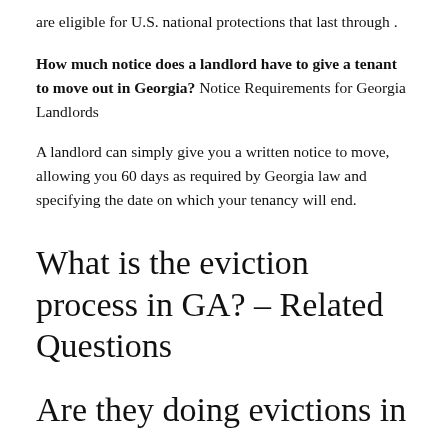are eligible for U.S. national protections that last through .
How much notice does a landlord have to give a tenant to move out in Georgia? Notice Requirements for Georgia Landlords
A landlord can simply give you a written notice to move, allowing you 60 days as required by Georgia law and specifying the date on which your tenancy will end.
What is the eviction process in GA? – Related Questions
Are they doing evictions in